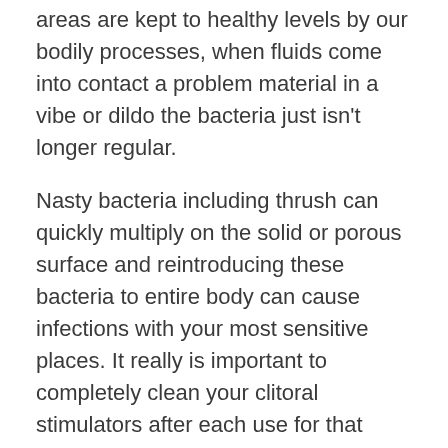areas are kept to healthy levels by our bodily processes, when fluids come into contact a problem material in a vibe or dildo the bacteria just isn't longer regular.
Nasty bacteria including thrush can quickly multiply on the solid or porous surface and reintroducing these bacteria to entire body can cause infections with your most sensitive places. It really is important to completely clean your clitoral stimulators after each use for that reasons remarked above. To avoid multiplication of nasty bacteria during sessions, your toy ought to cleaned after anal use (before using in another orifice) factors why you should using as part of your partner.